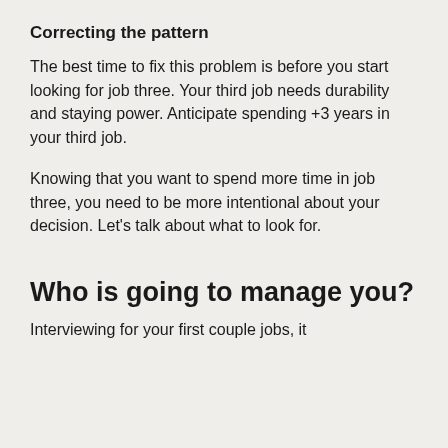Correcting the pattern
The best time to fix this problem is before you start looking for job three. Your third job needs durability and staying power. Anticipate spending +3 years in your third job.
Knowing that you want to spend more time in job three, you need to be more intentional about your decision. Let’s talk about what to look for.
Who is going to manage you?
Interviewing for your first couple jobs, it